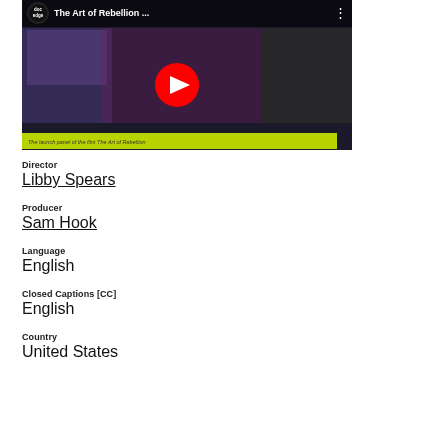[Figure (screenshot): YouTube-style video thumbnail showing 'The Art of Rebellion ...' with doc edge logo, play button, and green caption bar at bottom]
Director
Libby Spears
Producer
Sam Hook
Language
English
Closed Captions [CC]
English
Country
United States